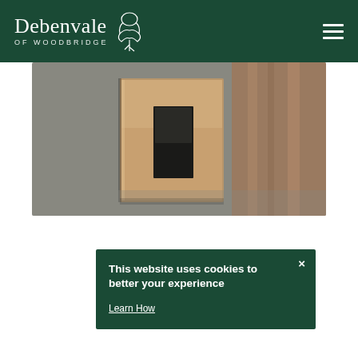[Figure (logo): Debenvale of Woodbridge logo with tree illustration in white on dark green header bar]
[Figure (photo): Close-up photograph of a brushed bronze/gold metallic light switch plate against a grey wall]
This website uses cookies to better your experience
Learn How